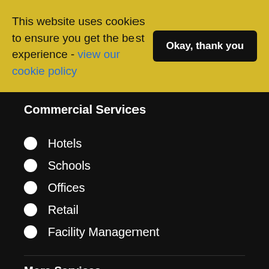This website uses cookies to ensure you get the best experience - view our cookie policy
Okay, thank you
Commercial Services
Hotels
Schools
Offices
Retail
Facility Management
More Services